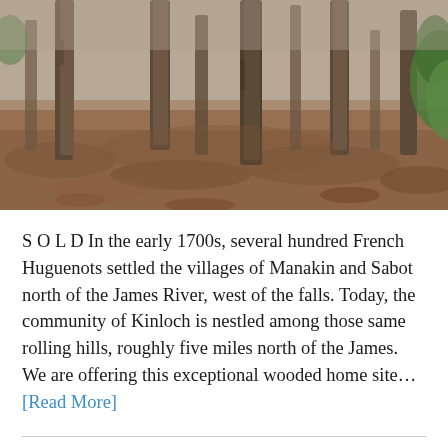[Figure (photo): Wooded area with bare tree trunks, fallen leaves on the ground, and some green foliage visible at the edges. A forest scene in daytime.]
S O L D In the early 1700s, several hundred French Huguenots settled the villages of Manakin and Sabot north of the James River, west of the falls. Today, the community of Kinloch is nestled among those same rolling hills, roughly five miles north of the James. We are offering this exceptional wooded home site… [Read More]
A rare opportunity: 11.6 acres in